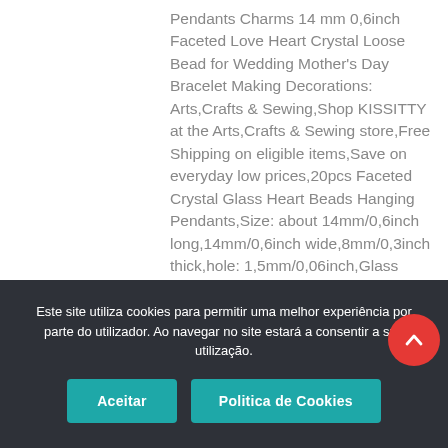Pendants Charms 14 mm 0,6inch Faceted Love Heart Crystal Loose Bead for Wedding Mother's Day Bracelet Making Decorations: Arts,Crafts & Sewing,Shop KISSITTY at the Arts,Crafts & Sewing store,Free Shipping on eligible items,Save on everyday low prices,20pcs Faceted Crystal Glass Heart Beads Hanging Pendants,Size: about 14mm/0,6inch long,14mm/0,6inch wide,8mm/0,3inch thick,hole: 1,5mm/0,06inch,Glass pendant looks shining and fascinating,The back of the pendant has been plated silver color,These small pendant has a top drilled hole which allow you to match some pinch bail for a personnal pendant for your jewelry design,You can use them to make your necklace,bracelet,earrings and other DIY
Este site utiliza cookies para permitir uma melhor experiência por parte do utilizador. Ao navegar no site estará a consentir a sua utilização.
Aceitar
Politica de Cookies